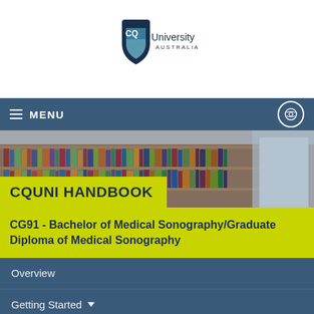[Figure (logo): CQUniversity Australia logo — shield shape with blue and teal colors, text 'cq University AUSTRALIA']
MENU
[Figure (photo): Library bookshelf photo with person in blue shirt browsing books]
CQUNI HANDBOOK
CG91 - Bachelor of Medical Sonography/Graduate Diploma of Medical Sonography
Overview
Getting Started
Course Learning Outcomes